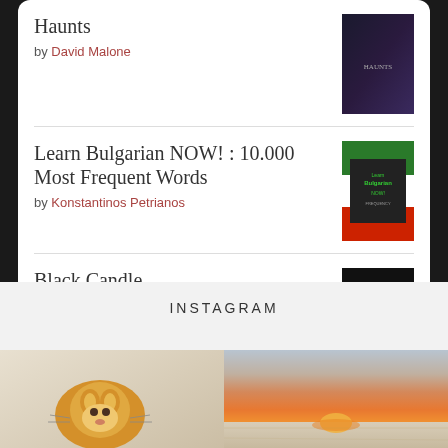Haunts by David Malone
Learn Bulgarian NOW! : 10.000 Most Frequent Words by Konstantinos Petrianos
Black Candle by H.P. Bayne
[Figure (logo): goodreads button/logo with rounded rectangle border]
INSTAGRAM
[Figure (photo): Orange tabby kitten lying on fabric with tiger print]
[Figure (photo): Sunset over flat snowy or sandy landscape with orange and pink sky]